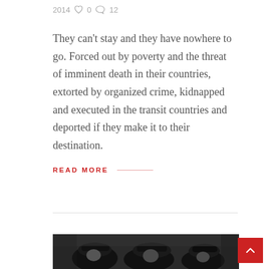2014  ♡ 0  ☁ 12
They can't stay and they have nowhere to go. Forced out by poverty and the threat of imminent death in their countries, extorted by organized crime, kidnapped and executed in the transit countries and deported if they make it to their destination.
READ MORE  ——
[Figure (photo): Black and white photograph of people wearing helmets or hats, partially visible at the bottom of the page]